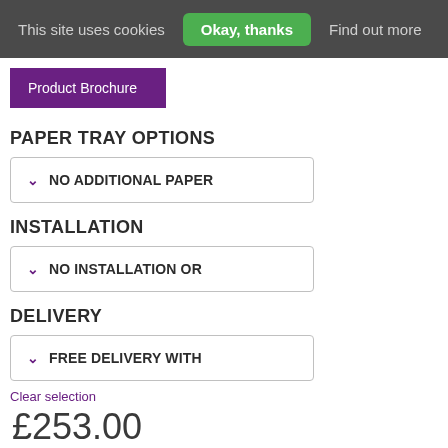This site uses cookies   Okay, thanks   Find out more
Product Brochure
PAPER TRAY OPTIONS
NO ADDITIONAL PAPER
INSTALLATION
NO INSTALLATION OR
DELIVERY
FREE DELIVERY WITH
Clear selection
£253.00